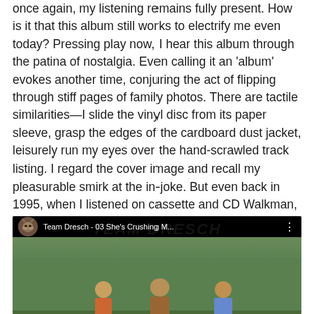once again, my listening remains fully present. How is it that this album still works to electrify me even today? Pressing play now, I hear this album through the patina of nostalgia. Even calling it an 'album' evokes another time, conjuring the act of flipping through stiff pages of family photos. There are tactile similarities—I slide the vinyl disc from its paper sleeve, grasp the edges of the cardboard dust jacket, leisurely run my eyes over the hand-scrawled track listing. I regard the cover image and recall my pleasurable smirk at the in-joke. But even back in 1995, when I listened on cassette and CD Walkman, I wanted to take this album with me everywhere.
[Figure (screenshot): YouTube video embed showing Team Dresch - 03 She's Crushing M... with a cat avatar icon, three-dot menu, and a video thumbnail of people outdoors with a red object visible.]